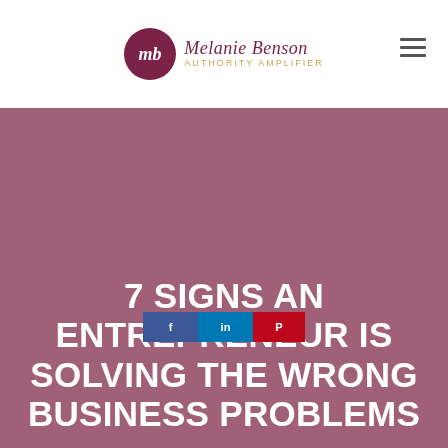Melanie Benson Authority Amplifier
[Figure (logo): Melanie Benson Authority Amplifier logo with circular MB monogram in dark purple/maroon and script text]
[Figure (photo): Large mauve/dusty rose colored hero image background filling most of the page below the header]
7 SIGNS AN ENTREPRENEUR IS SOLVING THE WRONG BUSINESS PROBLEMS